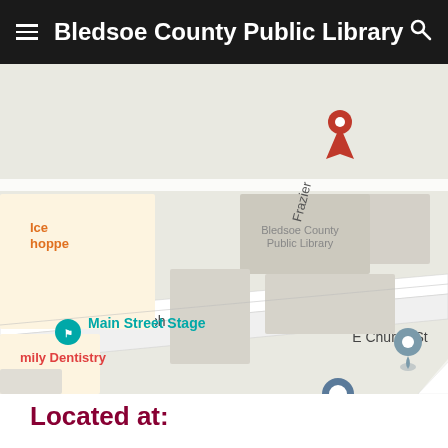Bledsoe County Public Library
[Figure (map): Google Maps screenshot showing the location of Bledsoe County Public Library with a red pin marker. Map shows surrounding streets including E Church St and Frazier St, nearby businesses including Ice hoppe, Main Street Stage, and mily Dentistry. A gray location pin is visible in the lower right of the map.]
Located at: